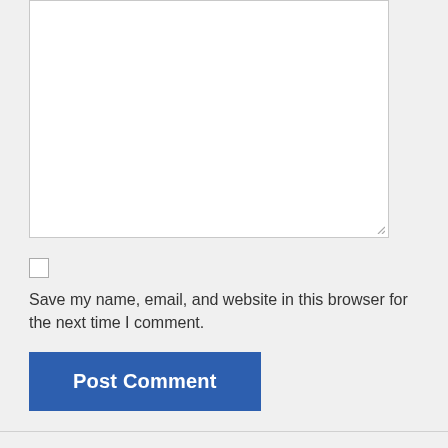[Figure (screenshot): A large empty textarea input box with a resize handle in the bottom-right corner, set against a light gray background.]
[Figure (screenshot): An unchecked checkbox input element.]
Save my name, email, and website in this browser for the next time I comment.
[Figure (screenshot): A blue 'Post Comment' button with white bold text.]
Search